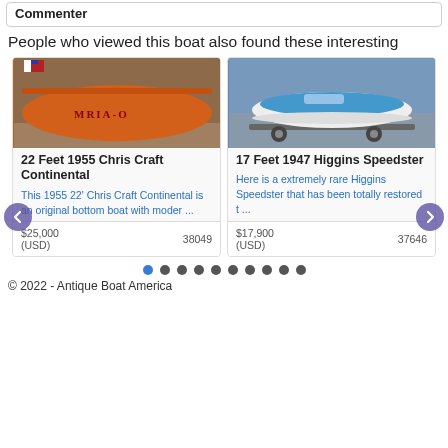Commenter
People who viewed this boat also found these interesting
[Figure (photo): Orange wooden boat hull with text MRIA-O, stored in a barn or warehouse]
22 Feet 1955 Chris Craft Continental
This 1955 22' Chris Craft Continental is an original bottom boat with moder ...
$25,000 (USD)   38049
[Figure (photo): White and blue classic speedboat on a trailer in a garage or warehouse]
17 Feet 1947 Higgins Speedster
Here is a extremely rare Higgins Speedster that has been totally restored t ...
$17,900 (USD)   37646
© 2022 - Antique Boat America